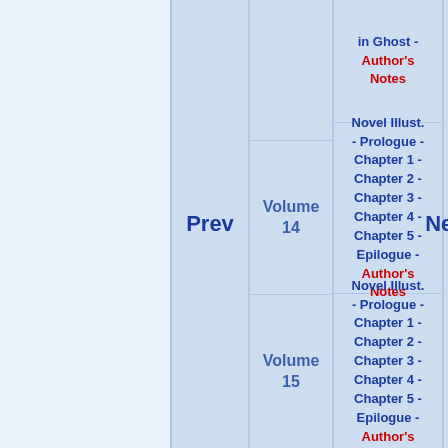Prev
Volume 14
Novel Illust. - Prologue - Chapter 1 - Chapter 2 - Chapter 3 - Chapter 4 - Chapter 5 - Epilogue - Author's Notes
Volume 15
Novel Illust. - Prologue - Chapter 1 - Chapter 2 - Chapter 3 - Chapter 4 - Chapter 5 - Epilogue - Author's Notes
Next